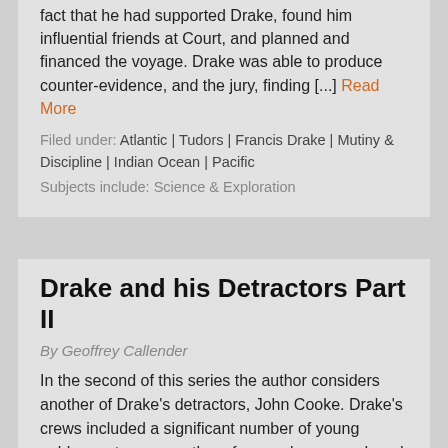fact that he had supported Drake, found him influential friends at Court, and planned and financed the voyage. Drake was able to produce counter-evidence, and the jury, finding [...] Read More
Filed under: Atlantic | Tudors | Francis Drake | Mutiny & Discipline | Indian Ocean | Pacific
Subjects include: Science & Exploration
Drake and his Detractors Part II
By Geoffrey Callender
In the second of this series the author considers another of Drake's detractors, John Cooke. Drake's crews included a significant number of young noblemen to prepare them for naval command, and Cooke was one of these. Cooke's account of Drakes voyage only records the first fraction mentioning his him Elizabethan and